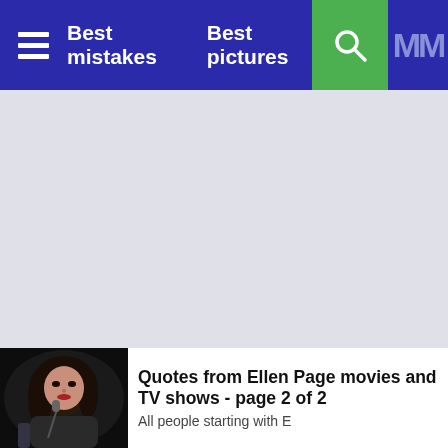Best mistakes   Best pictures
[Figure (photo): Photo of Ellen Page at a panel, dark background, woman with dark hair near a microphone]
Quotes from Ellen Page movies and TV shows - page 2 of 2
All people starting with E